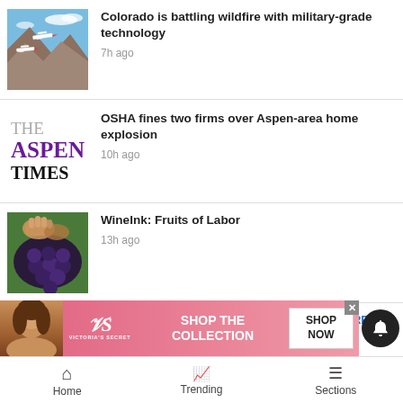[Figure (photo): Two red and white planes flying over mountain landscape]
Colorado is battling wildfire with military-grade technology
7h ago
[Figure (logo): The Aspen Times newspaper logo]
OSHA fines two firms over Aspen-area home explosion
10h ago
[Figure (photo): Hands holding dark purple grapes]
WineInk: Fruits of Labor
13h ago
SEE MORE
[Figure (photo): Victoria's Secret advertisement banner with model and Shop the Collection text]
Home   Trending   Sections